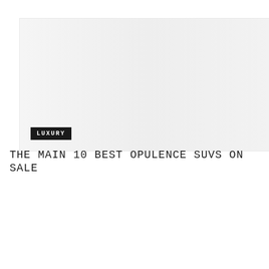[Figure (photo): Large placeholder image area with light gray gradient background, luxury category badge overlay in bottom left]
THE MAIN 10 BEST OPULENCE SUVS ON SALE
[Figure (photo): Second placeholder image area with light gray gradient background]